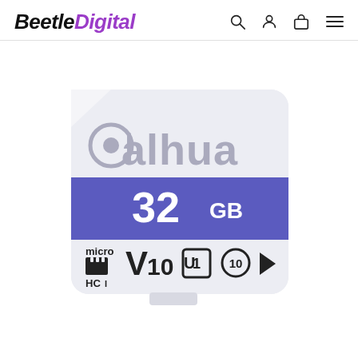BeetleDigital
[Figure (photo): Dahua 32GB microSDHC UHS-I V10 Class 10 memory card with white and purple design showing the Dahua logo, 32GB capacity, microSDHC I, V10, U1, and Class 10 markings]